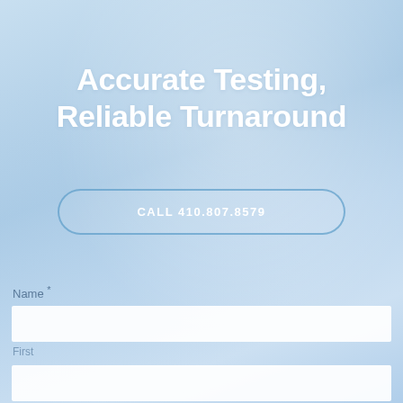Accurate Testing, Reliable Turnaround
CALL 410.807.8579
Name *
First